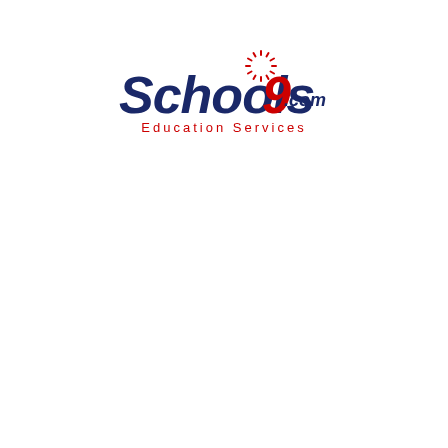[Figure (logo): Schools9.com Education Services logo. 'Schools' in dark navy bold italic, '9' in red bold italic with a sunburst/rays graphic above it, '.com' in dark navy smaller text, and 'Education Services' in red spaced text below.]